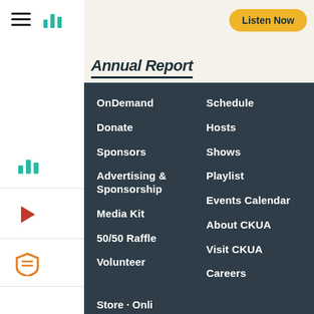Annual Report
OnDemand
Donate
Sponsors
Advertising & Sponsorship
Media Kit
50/50 Raffle
Volunteer
Schedule
Hosts
Shows
Playlist
Events Calendar
About CKUA
Visit CKUA
Careers